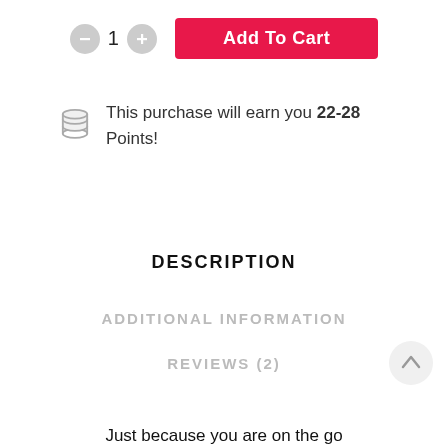[Figure (other): Quantity selector with minus button, number 1, plus button, and a red Add To Cart button]
This purchase will earn you 22-28 Points!
DESCRIPTION
ADDITIONAL INFORMATION
REVIEWS (2)
Just because you are on the go